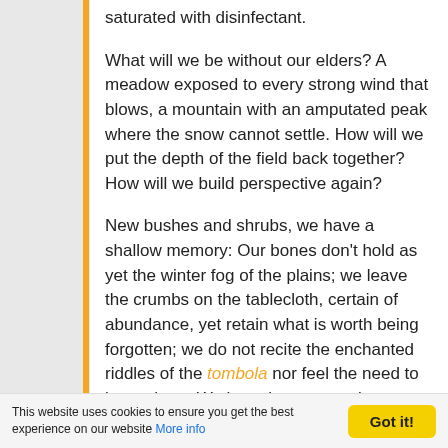saturated with disinfectant.
What will we be without our elders? A meadow exposed to every strong wind that blows, a mountain with an amputated peak where the snow cannot settle. How will we put the depth of the field back together? How will we build perspective again?
New bushes and shrubs, we have a shallow memory: Our bones don't hold as yet the winter fog of the plains; we leave the crumbs on the tablecloth, certain of abundance, yet retain what is worth being forgotten; we do not recite the enchanted riddles of the tombola nor feel the need to know them. We have looser moorings.
This website uses cookies to ensure you get the best experience on our website More info